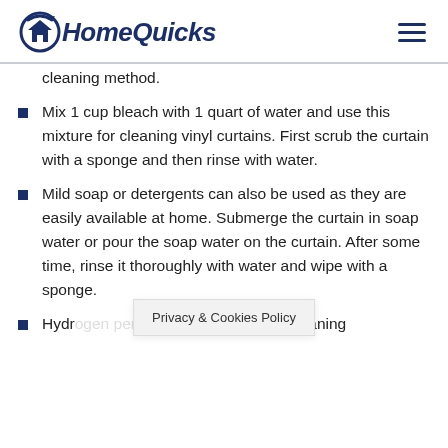HomeQuicks
cleaning method.
Mix 1 cup bleach with 1 quart of water and use this mixture for cleaning vinyl curtains. First scrub the curtain with a sponge and then rinse with water.
Mild soap or detergents can also be used as they are easily available at home. Submerge the curtain in soap water or pour the soap water on the curtain. After some time, rinse it thoroughly with water and wipe with a sponge.
Hydr... sed for cleaning
Privacy & Cookies Policy